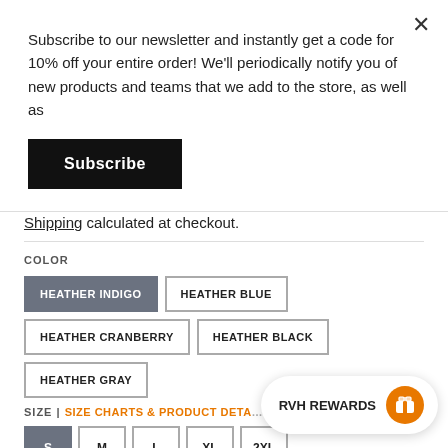Subscribe to our newsletter and instantly get a code for 10% off your entire order! We'll periodically notify you of new products and teams that we add to the store, as well as
Subscribe
Shipping calculated at checkout.
COLOR
HEATHER INDIGO
HEATHER BLUE
HEATHER CRANBERRY
HEATHER BLACK
HEATHER GRAY
SIZE | SIZE CHARTS & PRODUCT DETAILS
S
M
L
XL
2XL
RVH REWARDS